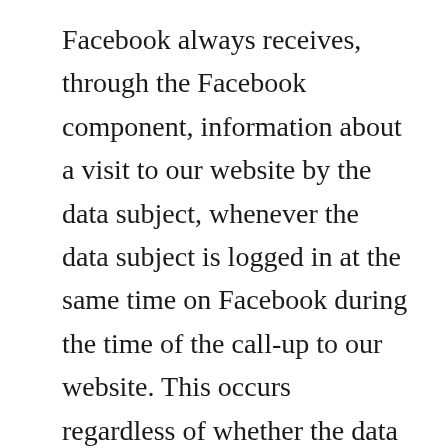Facebook always receives, through the Facebook component, information about a visit to our website by the data subject, whenever the data subject is logged in at the same time on Facebook during the time of the call-up to our website. This occurs regardless of whether the data subject clicks on the Facebook component or not. If such a transmission of information to Facebook is not desirable for the data subject, then he or she may prevent this by logging off from their Facebook account before a call-up to our